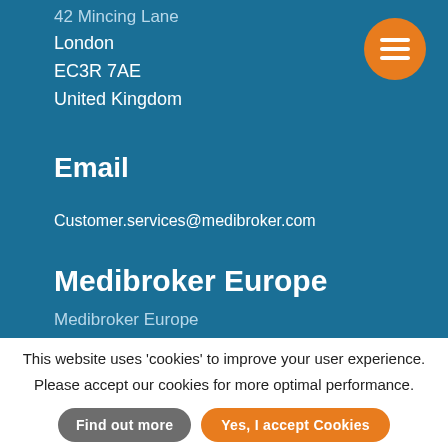42 Mincing Lane
London
EC3R 7AE
United Kingdom
Email
Customer.services@medibroker.com
Medibroker Europe
Medibroker Europe
This website uses 'cookies' to improve your user experience. Please accept our cookies for more optimal performance.